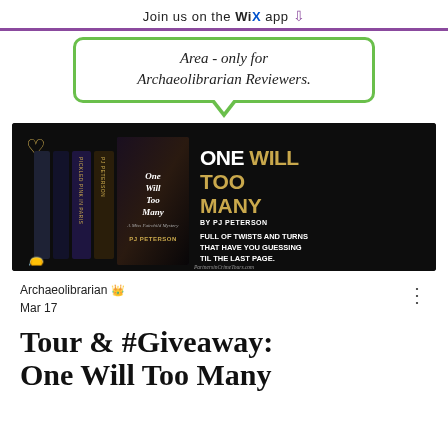Join us on the WiX app ↓
Area - only for Archaeolibrarian Reviewers.
[Figure (photo): Book promotion image for 'One Will Too Many' by PJ Peterson on a black background, showing book spines on the left and promotional text on the right reading 'ONE WILL TOO MANY BY PJ PETERSON - FULL OF TWISTS AND TURNS THAT HAVE YOU GUESSING TIL THE LAST PAGE.' PartnersinCrimeTours.com]
Archaeolibrarian 👑
Mar 17
Tour & #Giveaway:
One Will Too Many